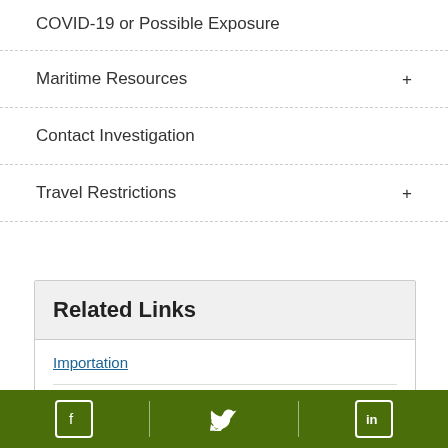COVID-19 or Possible Exposure
Maritime Resources
Contact Investigation
Travel Restrictions
Related Links
Importation
United States - Mexico Public Health
Facebook | Twitter | LinkedIn